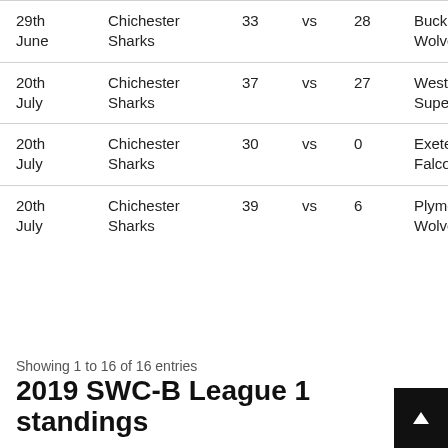| Date | Team | Score1 | vs | Score2 | Opponent |
| --- | --- | --- | --- | --- | --- |
| 29th June | Chichester Sharks | 33 | vs | 28 | Buckinghamshire Wolves |
| 20th July | Chichester Sharks | 37 | vs | 27 | Weston Supers |
| 20th July | Chichester Sharks | 30 | vs | 0 | Exeter Falcons |
| 20th July | Chichester Sharks | 39 | vs | 6 | Plymouth Wolverines |
Showing 1 to 16 of 16 entries
2019 SWC-B League 1 standings